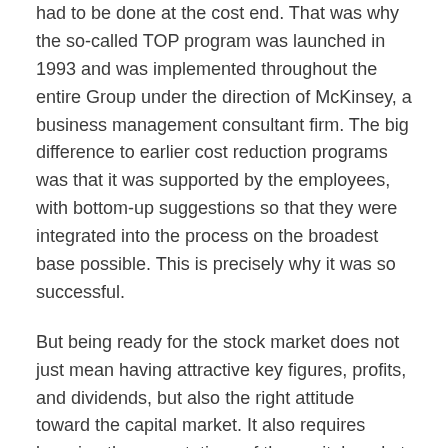had to be done at the cost end. That was why the so-called TOP program was launched in 1993 and was implemented throughout the entire Group under the direction of McKinsey, a business management consultant firm. The big difference to earlier cost reduction programs was that it was supported by the employees, with bottom-up suggestions so that they were integrated into the process on the broadest base possible. This is precisely why it was so successful.
But being ready for the stock market does not just mean having attractive key figures, profits, and dividends, but also the right attitude toward the capital market. It also requires knowing the expectations of the capital market and, in particular, being familiar with the criteria used by analysts to assess a company. You must also be aware of how difficult it is to win the confidence of the capital market and how quickly you can lose it, if you fall short of